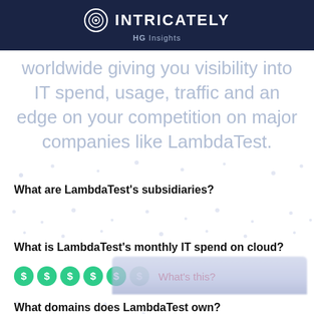[Figure (logo): Intricately HG Insights logo on dark navy background]
worldwide giving you visibility into IT spend, usage, traffic and an edge on your competition on major companies like LambdaTest.
What are LambdaTest's subsidiaries?
What is LambdaTest's monthly IT spend on cloud?
$ $ $ $ $ $  What's this?
What domains does LambdaTest own?